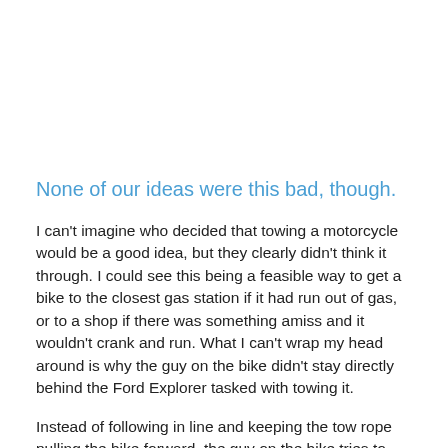None of our ideas were this bad, though.
I can't imagine who decided that towing a motorcycle would be a good idea, but they clearly didn't think it through. I could see this being a feasible way to get a bike to the closest gas station if it had run out of gas, or to a shop if there was something amiss and it wouldn't crank and run. What I can't wrap my head around is why the guy on the bike didn't stay directly behind the Ford Explorer tasked with towing it.
Instead of following in line and keeping the tow rope pulling the bike forward, the guy on the bike tries to pull out to into the left lane, similar to what you see skiers and wakeboarders doing when they cross back and forth behind a boat. The difference here is that